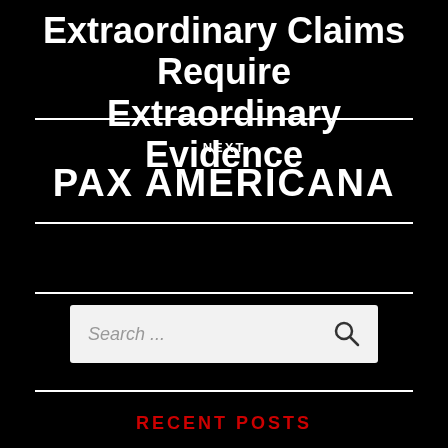Extraordinary Claims Require Extraordinary Evidence
NEXT
PAX AMERICANA
[Figure (other): Search bar with placeholder text 'Search ...' and a magnifying glass icon]
RECENT POSTS